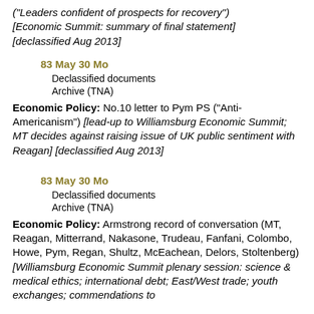("Leaders confident of prospects for recovery") [Economic Summit: summary of final statement] [declassified Aug 2013]
83 May 30 Mo
Declassified documents
Archive (TNA)
Economic Policy: No.10 letter to Pym PS ("Anti-Americanism") [lead-up to Williamsburg Economic Summit; MT decides against raising issue of UK public sentiment with Reagan] [declassified Aug 2013]
83 May 30 Mo
Declassified documents
Archive (TNA)
Economic Policy: Armstrong record of conversation (MT, Reagan, Mitterrand, Nakasone, Trudeau, Fanfani, Colombo, Howe, Pym, Regan, Shultz, McEachean, Delors, Stoltenberg) [Williamsburg Economic Summit plenary session: science & medical ethics; international debt; East/West trade; youth exchanges; commendations to